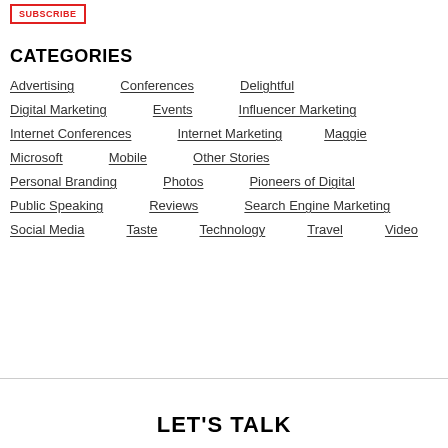[Figure (other): Subscribe button with red border]
CATEGORIES
Advertising
Conferences
Delightful
Digital Marketing
Events
Influencer Marketing
Internet Conferences
Internet Marketing
Maggie
Microsoft
Mobile
Other Stories
Personal Branding
Photos
Pioneers of Digital
Public Speaking
Reviews
Search Engine Marketing
Social Media
Taste
Technology
Travel
Video
LET'S TALK